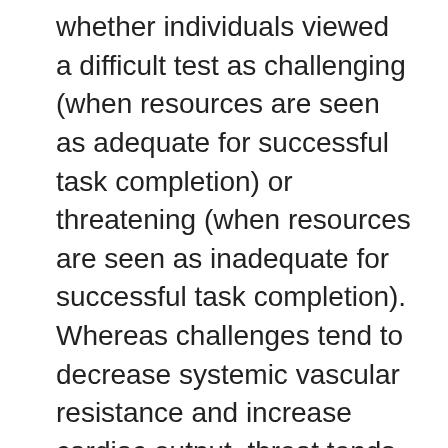whether individuals viewed a difficult test as challenging (when resources are seen as adequate for successful task completion) or threatening (when resources are seen as inadequate for successful task completion). Whereas challenges tend to decrease systemic vascular resistance and increase cardiac output, threat tends to increase vascular resistance but produce minimal change in cardiac output. To examine these physiological responses to task demands, the researchers had male and female undergraduates complete a difficult math test that was described as typically producing gender